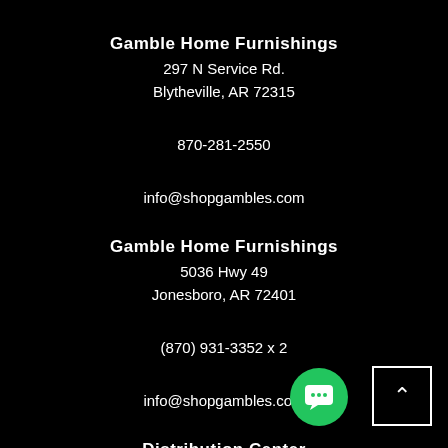Gamble Home Furnishings
297 N Service Rd.
Blytheville, AR 72315

870-281-2550

info@shopgambles.com
Gamble Home Furnishings
5036 Hwy 49
Jonesboro, AR 72401

(870) 931-3352 x 2

info@shopgambles.com
Distribution Center
24 CR 912
Brookland, AR 72417

(870) 336-3880